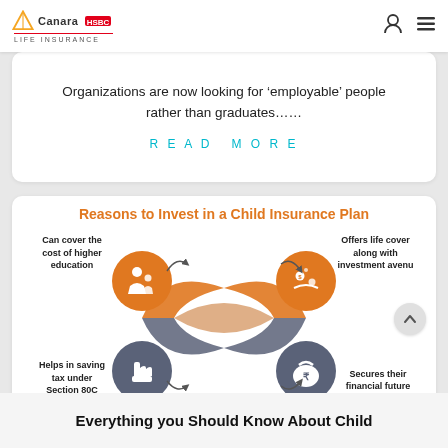Canara HSBC Life Insurance
Organizations are now looking for 'employable' people rather than graduates……
READ MORE
Reasons to Invest in a Child Insurance Plan
[Figure (infographic): Four-quadrant infographic showing reasons to invest in a child insurance plan: top-left circle with parent/child icon (Can cover the cost of higher education), top-right circle with investment icon (Offers life cover along with investment avenu), bottom-left circle with tax/hand icon (Helps in saving tax under Section 80C), bottom-right circle with rupee bag icon (Secures their financial future). Central interlocking orange and grey arrows connect the four circles.]
Everything you Should Know About Child